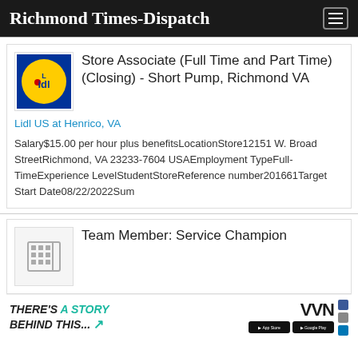Richmond Times-Dispatch
Store Associate (Full Time and Part Time) (Closing) - Short Pump, Richmond VA
Lidl US at Henrico, VA
Salary$15.00 per hour plus benefitsLocationStore12151 W. Broad StreetRichmond, VA 23233-7604 USAEmployment TypeFull-TimeExperience LevelStudentStoreReference number201661Target Start Date08/22/2022Sum
Team Member: Service Champion
[Figure (advertisement): VVN advertisement banner with text 'THERE'S A STORY BEHIND THIS...' with arrow, VVN logo, App Store and Google Play badges, and social media icons]